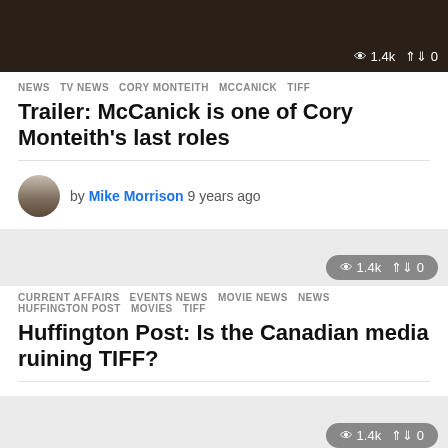[Figure (photo): Dark cinematic photo at top of page showing a figure in dim lighting]
NEWS   TV NEWS   CORY MONTEITH   MCCANICK   TIFF
Trailer: McCanick is one of Cory Monteith's last roles
by Mike Morrison 9 years ago
CURRENT AFFAIRS   EVENTS NEWS   MOVIE NEWS   NEWS   HUFFINGTON POST   MOVIES   TIFF
Huffington Post: Is the Canadian media ruining TIFF?
by Mike Morrison 11 years ago